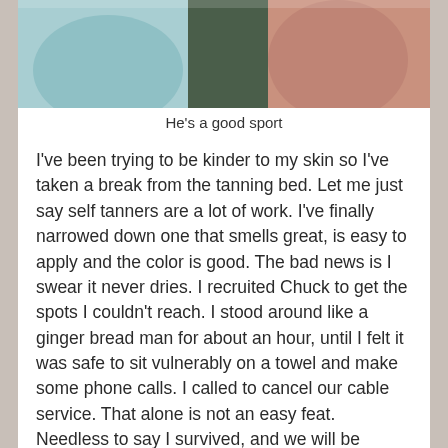[Figure (photo): Photo showing two people with clothing visible, one in a blue/teal garment and one in a pink/mauve garment, cropped to show torso area]
He's a good sport
I've been trying to be kinder to my skin so I've taken a break from the tanning bed. Let me just say self tanners are a lot of work. I've finally narrowed down one that smells great, is easy to apply and the color is good. The bad news is I swear it never dries. I recruited Chuck to get the spots I couldn't reach. I stood around like a ginger bread man for about an hour, until I felt it was safe to sit vulnerably on a towel and make some phone calls. I called to cancel our cable service. That alone is not an easy feat. Needless to say I survived, and we will be saving $120 a month. Absolutely ridiculous that it took me so long to pull the trigger. We even got the receivers dropped off to the UPS store. That could